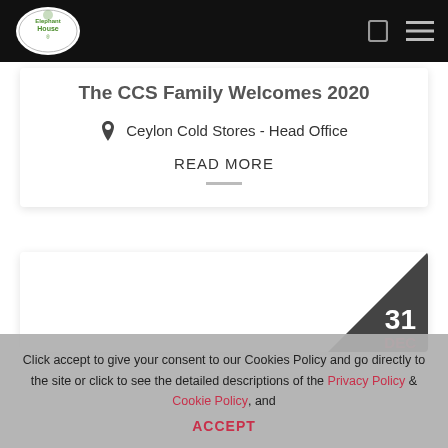Elephant House navigation bar with logo, search icon, and menu icon
The CCS Family Welcomes 2020
Ceylon Cold Stores - Head Office
READ MORE
31 DEC
Click accept to give your consent to our Cookies Policy and go directly to the site or click to see the detailed descriptions of the Privacy Policy & Cookie Policy, and ACCEPT